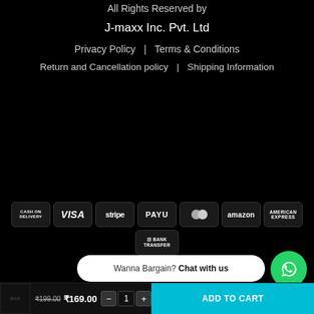All Rights Reserved by
J-maxx Inc. Pvt. Ltd
Privacy Policy  |  Terms & Conditions
Return and Cancellation policy  |  Shipping Information
[Figure (infographic): Payment method badges: CASH ON DELIVERY, VISA, stripe, PAYU, MasterCard, amazon, AMERICAN EXPRESS, BANK TRANSFER]
Wanna Bargain? Chat with us
₹199.00  ₹169.00  -  1  +  ADD TO CART